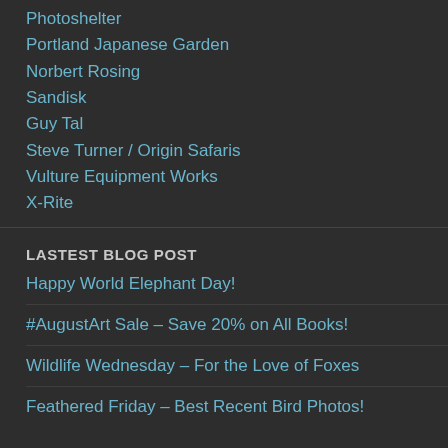Photoshelter
Portland Japanese Garden
Norbert Rosing
Sandisk
Guy Tal
Steve Turner / Origin Safaris
Vulture Equipment Works
X-Rite
LASTEST BLOG POST
Happy World Elephant Day!
#AugustArt Sale – Save 20% on All Books!
Wildlife Wednesday – For the Love of Foxes
Feathered Friday – Best Recent Bird Photos!